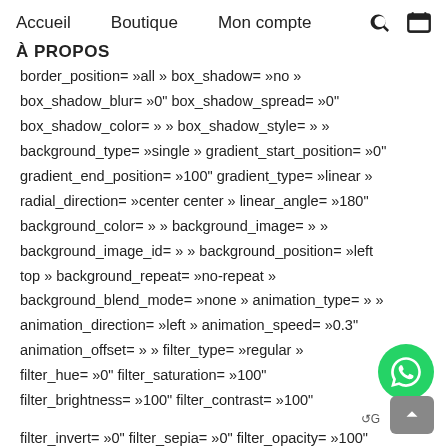Accueil   Boutique   Mon compte
À PROPOS
border_position= »all » box_shadow= »no » box_shadow_blur= »0" box_shadow_spread= »0" box_shadow_color= » » box_shadow_style= » » background_type= »single » gradient_start_position= »0" gradient_end_position= »100" gradient_type= »linear » radial_direction= »center center » linear_angle= »180" background_color= » » background_image= » » background_image_id= » » background_position= »left top » background_repeat= »no-repeat » background_blend_mode= »none » animation_type= » » animation_direction= »left » animation_speed= »0.3" animation_offset= » » filter_type= »regular » filter_hue= »0" filter_saturation= »100" filter_brightness= »100" filter_contrast= »100" filter_invert= »0" filter_sepia= »0" filter_opacity= »100"